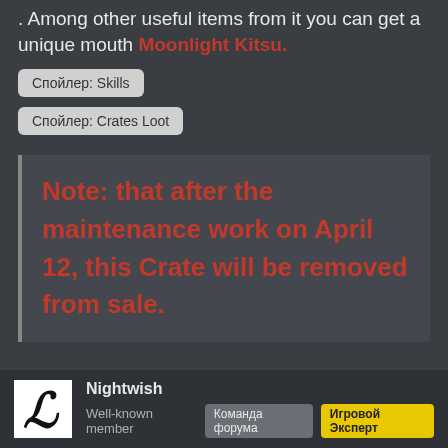. Among other useful items from it you can get a unique mouth Moonlight Kitsu.
Спойлер: Skills
Спойлер: Crates Loot
Note: that after the maintenance work on April 12, this Crate will be removed from sale.
Nightwish
Well-known member  Команда форума  Игровой Эксперт